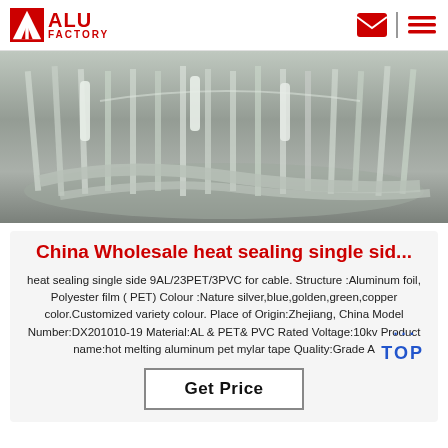[Figure (logo): ALU FACTORY logo with red triangle/A shape and red text ALU FACTORY]
[Figure (photo): Industrial photo showing aluminum foil/mylar tape wrapped around cable or duct equipment in a factory or installation setting]
China Wholesale heat sealing single sid...
heat sealing single side 9AL/23PET/3PVC for cable. Structure :Aluminum foil, Polyester film ( PET) Colour :Nature silver,blue,golden,green,copper color.Customized variety colour. Place of Origin:Zhejiang, China Model Number:DX201010-19 Material:AL & PET& PVC Rated Voltage:10kv Product name:hot melting aluminum pet mylar tape Quality:Grade A
[Figure (logo): TOP badge with blue dots and blue TOP text]
Get Price